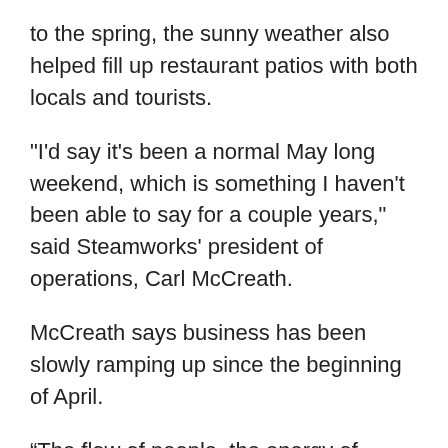to the spring, the sunny weather also helped fill up restaurant patios with both locals and tourists.
"I'd say it's been a normal May long weekend, which is something I haven't been able to say for a couple years," said Steamworks' president of operations, Carl McCreath.
McCreath says business has been slowly ramping up since the beginning of April.
“The flow of people, the energy of people, the flow in the room, it's been a lot like it used to be,” he said.
However, McCreath says while sales have returned to normal levels, there’s still a staffing